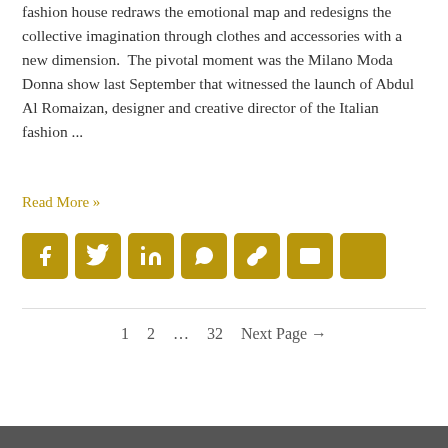fashion house redraws the emotional map and redesigns the collective imagination through clothes and accessories with a new dimension.  The pivotal moment was the Milano Moda Donna show last September that witnessed the launch of Abdul Al Romaizan, designer and creative director of the Italian fashion ...
Read More »
[Figure (other): Social share icons: Facebook, Twitter, LinkedIn, WhatsApp, Copy Link, Email, More — all styled as golden square buttons with white icons]
1   2   …   32   Next Page →